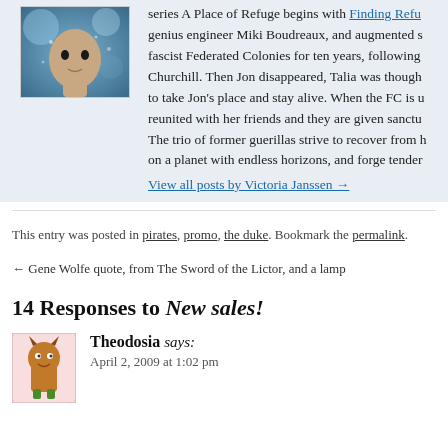[Figure (photo): Avatar image of a person's face, partially shown, against a blurred/digital background]
series A Place of Refuge begins with Finding Refu... genius engineer Miki Boudreaux, and augmented s... fascist Federated Colonies for ten years, following... Churchill. Then Jon disappeared, Talia was though... to take Jon's place and stay alive. When the FC is... reunited with her friends and they are given sanct... The trio of former guerillas strive to recover from... on a planet with endless horizons, and forge tender...
View all posts by Victoria Janssen →
This entry was posted in pirates, promo, the duke. Bookmark the permalink.
← Gene Wolfe quote, from The Sword of the Lictor, and a lamp
14 Responses to New sales!
[Figure (illustration): Monster/creature avatar for commenter Theodosia — a cartoon character in green and brown]
Theodosia says: April 2, 2009 at 1:02 pm